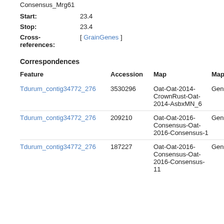Consensus_Mrg61
Start: 23.4
Stop: 23.4
Cross-references: [ GrainGenes ]
Correspondences
| Feature | Accession | Map | Map Type | Alias |
| --- | --- | --- | --- | --- |
| Tdurum_contig34772_276 | 3530296 | Oat-Oat-2014-CrownRust-Oat-2014-AsbxMN_6 | Genetic | Non |
| Tdurum_contig34772_276 | 209210 | Oat-Oat-2016-Consensus-Oat-2016-Consensus-1 | Genetic | Non |
| Tdurum_contig34772_276 | 187227 | Oat-Oat-2016-Consensus-Oat-2016-Consensus-11 | Genetic | Non |